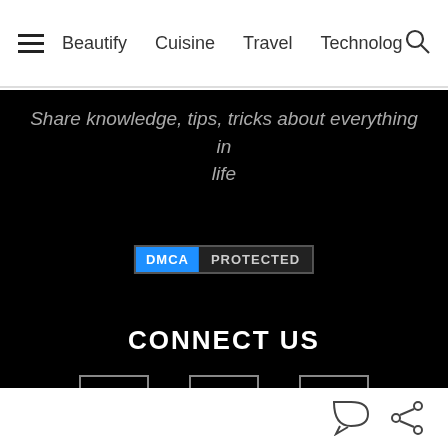Beautify   Cuisine   Travel   Technology
Share knowledge, tips, tricks about everything in life
[Figure (logo): DMCA PROTECTED badge with blue DMCA label and dark grey PROTECTED label]
CONNECT US
[Figure (infographic): Three social media icon boxes in a row: newsletter/grid icon, podcast/microphone icon, Spotify icon]
CONTACT
88 Le Hoan, Thanh Hoa
0334396666
Comment and share icons